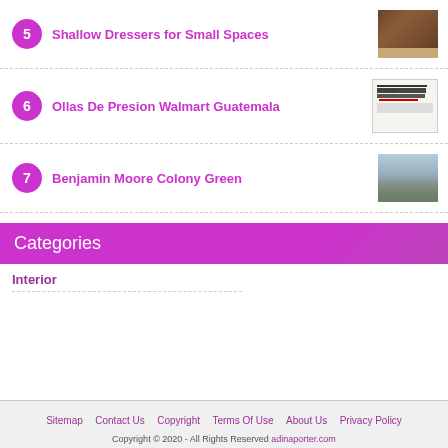5 Shallow Dressers for Small Spaces
6 Ollas De Presion Walmart Guatemala
7 Benjamin Moore Colony Green
Categories
Interior
Sitemap  Contact Us  Copyright  Terms Of Use  About Us  Privacy Policy
Copyright © 2020 - All Rights Reserved adinaporter.com